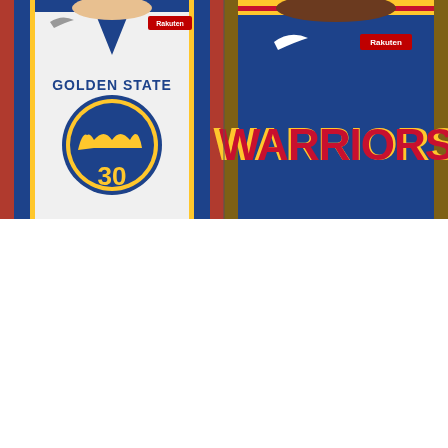[Figure (photo): Two side-by-side basketball jersey close-up photos. Left: A player wearing a white Golden State Warriors home jersey with the 'GOLDEN STATE' text arched over a blue circle with a gold/yellow bridge logo and number 30, with Nike swoosh logo and Rakuten sponsor patch visible. Right: A player wearing a blue Golden State Warriors away jersey with 'WARRIORS' in large red letters outlined in yellow, with Nike swoosh logo and Rakuten sponsor patch visible, featuring gold and red striped collar.]